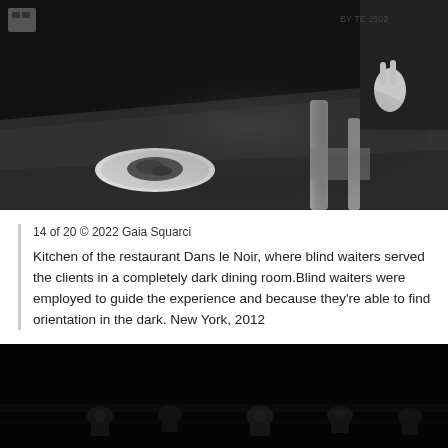[Figure (photo): Black and white photograph of a restaurant kitchen table with a plate of food and a chair, with a person making a peace sign gesture in the background. Dark, moody lighting. Restaurant 'Dans le Noir', New York.]
14 of 20 © 2022 Gaia Squarci

Kitchen of the restaurant Dans le Noir, where blind waiters served the clients in a completely dark dining room.Blind waiters were employed to guide the experience and because they're able to find orientation in the dark. New York, 2012
[Figure (photo): Black and white photograph of a very dark dining room with silhouettes of people seated at tables, barely visible in the darkness.]